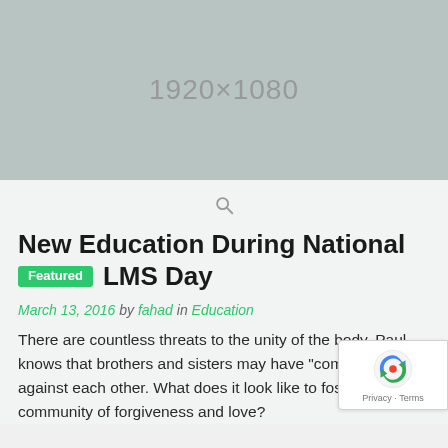[Figure (other): Gray placeholder image showing dimensions 1920×1080]
New Education During National Featured LMS Day
March 13, 2016 by fahad in Education
There are countless threats to the unity of the body. Paul knows that brothers and sisters may have "complaints" against each other. What does it look like to foster a community of forgiveness and love?